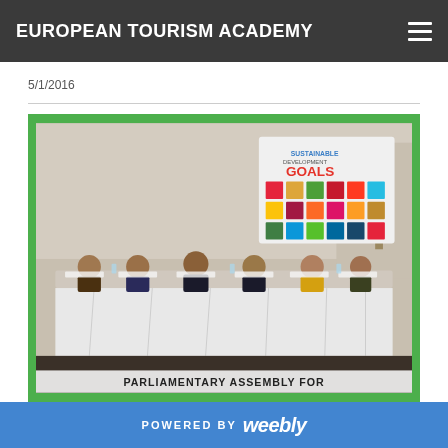EUROPEAN TOURISM ACADEMY
5/1/2016
[Figure (photo): Conference photo showing six panelists seated at a long draped table in a formal meeting room. Behind them a projected screen displays 'SUSTAINABLE DEVELOPMENT GOALS' with the UN SDG colored icon grid. Text at the bottom of the image reads 'PARLIAMENTARY ASSEMBLY FOR'. The photo is framed with a bright green border.]
POWERED BY weebly